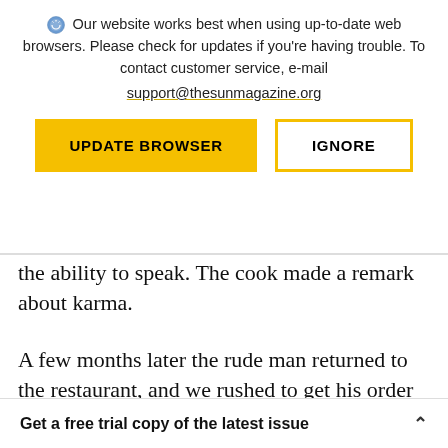Our website works best when using up-to-date web browsers. Please check for updates if you're having trouble. To contact customer service, e-mail support@thesunmagazine.org
[Figure (infographic): Two buttons: a yellow filled button labeled UPDATE BROWSER and a yellow-outlined button labeled IGNORE]
the ability to speak. The cook made a remark about karma.
A few months later the rude man returned to the restaurant, and we rushed to get his order filled while his buddies gave him a rollicking
Get a free trial copy of the latest issue